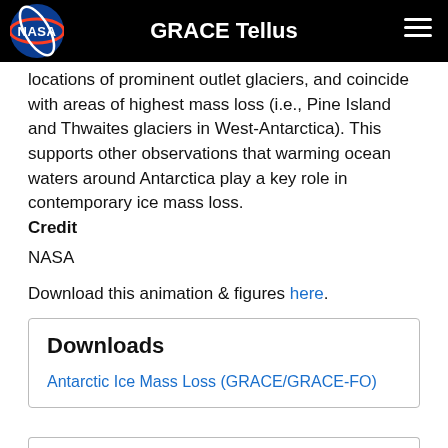GRACE Tellus
locations of prominent outlet glaciers, and coincide with areas of highest mass loss (i.e., Pine Island and Thwaites glaciers in West-Antarctica). This supports other observations that warming ocean waters around Antarctica play a key role in contemporary ice mass loss.
Credit
NASA
Download this animation & figures here.
Downloads
Antarctic Ice Mass Loss (GRACE/GRACE-FO)